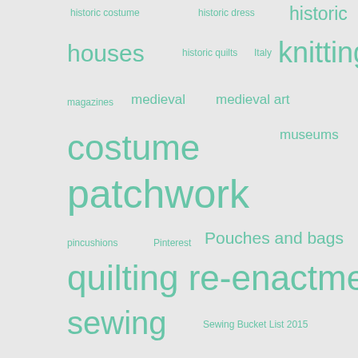[Figure (infographic): A tag cloud / word cloud featuring crafting, textile, and travel-related tags in various font sizes rendered in teal/mint green color on a light gray background. Tags include: historic costume, historic dress, historic, houses, historic quilts, Italy, knitting, magazines, medieval, medieval art, medieval costume, museums, needlepoint, Nepal, patchwork, pattern reviews, photos, pincushions, Pinterest, Pouches and bags, quilting, re-enactment, sewing, Sewing Bucket List 2015, Spain, Steampunk, textiles, travel, Uncategorized, videos, vintage textiles, vlogs]